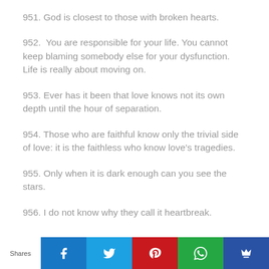951. God is closest to those with broken hearts.
952.  You are responsible for your life. You cannot keep blaming somebody else for your dysfunction. Life is really about moving on.
953. Ever has it been that love knows not its own depth until the hour of separation.
954. Those who are faithful know only the trivial side of love: it is the faithless who know love’s tragedies.
955. Only when it is dark enough can you see the stars.
956. I do not know why they call it heartbreak.
Shares [Facebook] [Twitter] [Pinterest] [WhatsApp] [Crown]